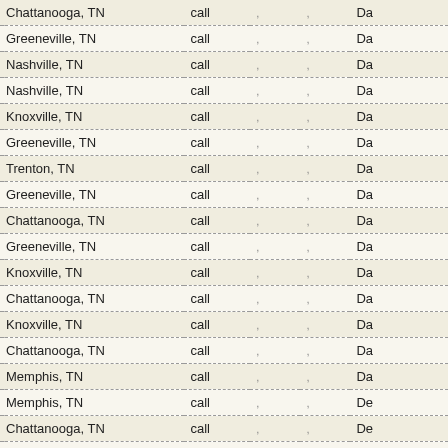| City | Type |  |  |  |
| --- | --- | --- | --- | --- |
| Chattanooga, TN | call | , | , | Da |
| Greeneville, TN | call | , | , | Da |
| Nashville, TN | call | , | , | Da |
| Nashville, TN | call | , | , | Da |
| Knoxville, TN | call | , | , | Da |
| Greeneville, TN | call | , | , | Da |
| Trenton, TN | call | , | , | Da |
| Greeneville, TN | call | , | , | Da |
| Chattanooga, TN | call | , | , | Da |
| Greeneville, TN | call | , | , | Da |
| Knoxville, TN | call | , | , | Da |
| Chattanooga, TN | call | , | , | Da |
| Knoxville, TN | call | , | , | Da |
| Chattanooga, TN | call | , | , | Da |
| Memphis, TN | call | , | , | Da |
| Memphis, TN | call | , | , | De |
| Chattanooga, TN | call | , | , | De |
| Memphis, TN | call | , | , | De |
| Greeneville, TN | call | , | , | De |